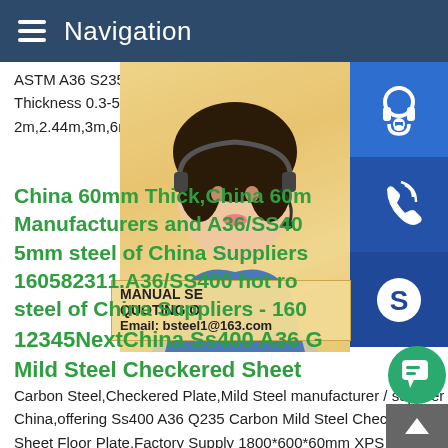Navigation
ASTM A36 S235 SS400 S275 Mild Steel P Thickness 0.3-500mm Width 2-5000mm,o 2m,2.44m,3m,6m,12m,or as required
China 60mm Thick,China 60m Manufacturers and A36/SS40 5mm steel of China Suppliers 160582311.A36/SS400 hot ro steel of China Suppliers - 160
12345NextChina Ss400 A36 G Mild Steel Checkered Sheet
[Figure (photo): Customer service representative woman wearing a headset, with blue customer service icons (headset, phone, Skype) on the right side, and a manual/quoting overlay with email bsteel1@163.com]
MANUAL SE QUOTING O Email: bsteel1@163.com
Carbon Steel,Checkered Plate,Mild Steel manufacturer / supplier in China,offering Ss400 A36 Q235 Carbon Mild Steel Checkered Sheet Floor Plate,Factory Supply 1800*600*60mm XPS Extru Polystyrene Foam Board B1 B2 XPS Board for Roof Floor and Exterior Wall Insulation,XPS Extruded Polystyrene Foam Insu